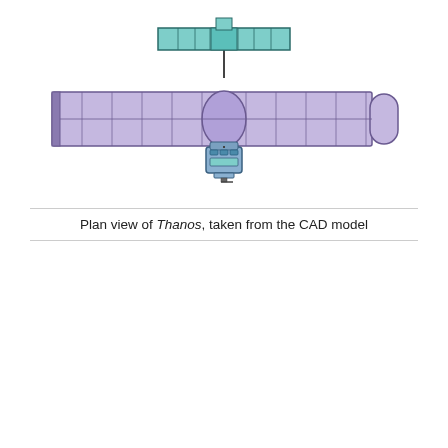[Figure (engineering-diagram): Plan view CAD model of the Thanos satellite/spacecraft, showing a long horizontal solar panel wing structure (purple/lavender grid panels) extending left and right, a small T-shaped teal/green antenna array at the top center, a thin vertical boom connecting them, and a small instrument/sensor unit at the bottom center.]
Plan view of Thanos, taken from the CAD model